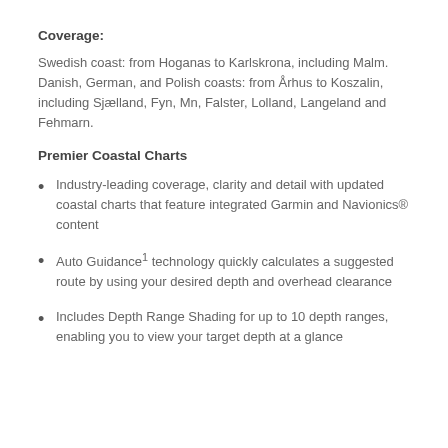Coverage:
Swedish coast: from Hoganas to Karlskrona, including Malm. Danish, German, and Polish coasts: from Århus to Koszalin, including Sjælland, Fyn, Mn, Falster, Lolland, Langeland and Fehmarn.
Premier Coastal Charts
Industry-leading coverage, clarity and detail with updated coastal charts that feature integrated Garmin and Navionics® content
Auto Guidance¹ technology quickly calculates a suggested route by using your desired depth and overhead clearance
Includes Depth Range Shading for up to 10 depth ranges, enabling you to view your target depth at a glance